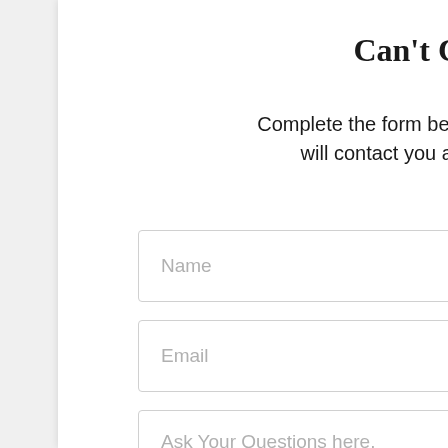Can't Call Us Now?
Complete the form below and a member of our team will contact you at a more convenient time.
[Figure (screenshot): Web contact form with three fields: Name (text input), Email (text input), and Ask Your Questions here. (textarea). Two floating circular buttons on the right side (phone icon and menu icon) in dark olive green color.]